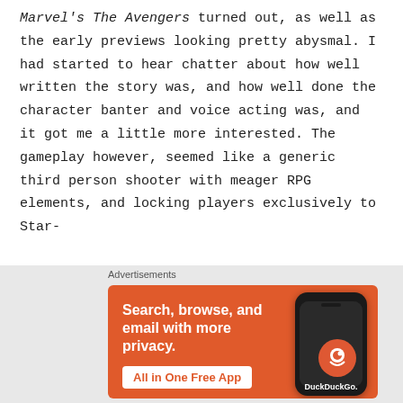Marvel's The Avengers turned out, as well as the early previews looking pretty abysmal. I had started to hear chatter about how well written the story was, and how well done the character banter and voice acting was, and it got me a little more interested. The gameplay however, seemed like a generic third person shooter with meager RPG elements, and locking players exclusively to Star-
[Figure (other): DuckDuckGo advertisement banner with orange background showing 'Search, browse, and email with more privacy. All in One Free App' text alongside a phone mockup displaying the DuckDuckGo logo]